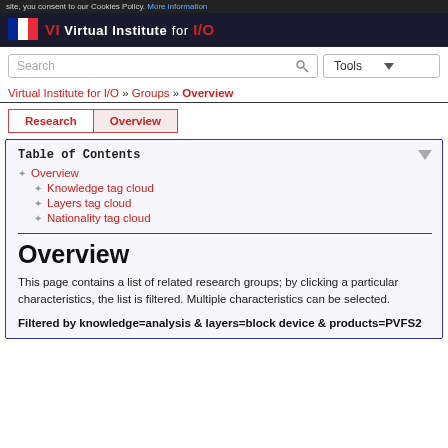site, you consent to our Cookies Policy. More information
[Figure (logo): Virtual Institute for I/O logo with flag icon and text]
Search | Tools
Virtual Institute for I/O » Groups » Overview
Research | Overview
Table of Contents
Overview
Knowledge tag cloud
Layers tag cloud
Nationality tag cloud
Overview
This page contains a list of related research groups; by clicking a particular characteristics, the list is filtered. Multiple characteristics can be selected.
Filtered by knowledge=analysis & layers=block device & products=PVFS2